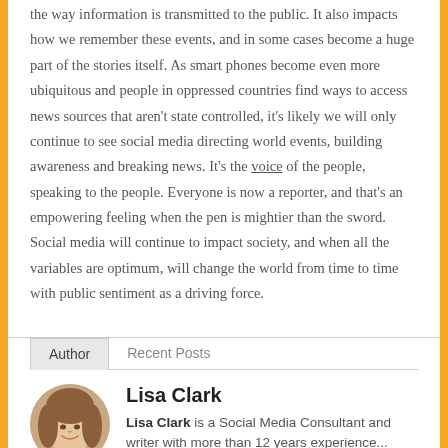the way information is transmitted to the public. It also impacts how we remember these events, and in some cases become a huge part of the stories itself. As smart phones become even more ubiquitous and people in oppressed countries find ways to access news sources that aren't state controlled, it's likely we will only continue to see social media directing world events, building awareness and breaking news. It's the voice of the people, speaking to the people. Everyone is now a reporter, and that's an empowering feeling when the pen is mightier than the sword. Social media will continue to impact society, and when all the variables are optimum, will change the world from time to time with public sentiment as a driving force.
Author | Recent Posts
Lisa Clark
Lisa Clark is a Social Media Consultant and writer with more than 12 years experience...
[Figure (photo): Circular portrait photo of Lisa Clark, a woman with curly hair, smiling]